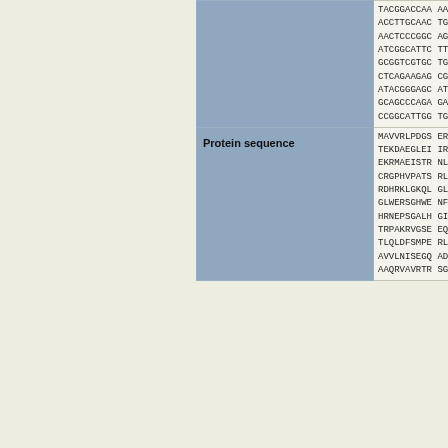| Label | Sequence |
| --- | --- |
| (DNA sequence cont.) | TACGGACCAA AAAT
ACCTTGCAAC TGGA
AACTCCCGGC AGAT
ATCGGCATTC TTAT
GCGGTCGTGC TGAA
CTCAGAAGAG CGGG
ATACGGGAGC ATAG
GCAGCCCAGA GAGT
CCGGCATTGG TGGA |
| Protein sequence | MAVVRLPDGS ERVY
TEKDAEGLEI IRHS
EKRMAEISTR NLKV
CRGPHVPATS RLKV
RDHRKLGKQL GLFH
GLWERSGHWE NFRE
HRNEPSGALH GIMR
TRPAKRVGSE EQWD
TLQLDFSMPE RLGA
AVVLNISEGQ ADYA
AAQRVAVRTR SGSD |